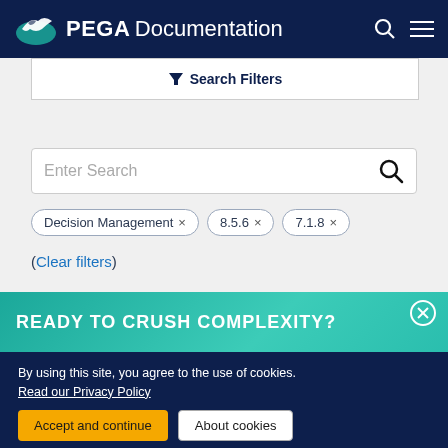PEGA Documentation
Search Filters
Enter Search
Decision Management ×
8.5.6 ×
7.1.8 ×
(Clear filters)
READY TO CRUSH COMPLEXITY?
By using this site, you agree to the use of cookies.
Read our Privacy Policy
Accept and continue
About cookies